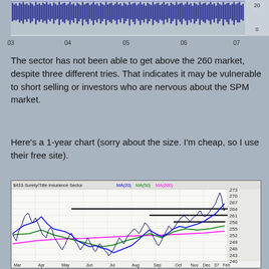[Figure (continuous-plot): Top strip showing a multi-year chart of the Surety/Title Insurance Sector from 2003 to 2007. Dense bar/candlestick chart with x-axis labels 03, 04, 05, 06, 07.]
The sector has not been able to get above the 260 market, despite three different tries. That indicates it may be vulnerable to short selling or investors who are nervous about the SPM market.
Here's a 1-year chart (sorry about the size. I'm cheap, so I use their free site).
[Figure (continuous-plot): $433-Surety/Title Insurance Sector 1-year chart with MA(20) in blue, MA(50) in green, MA(200) in magenta. Y-axis range 240-273. X-axis: Mar, Apr, May, Jun, Jul, Aug, Sep, Oct, Nov, Dec 07, Feb. Horizontal resistance lines drawn at approximately 258, 261, 264.]